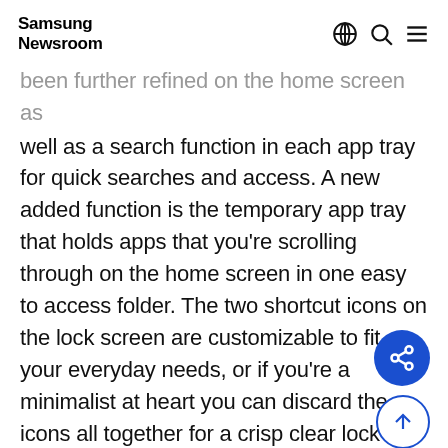Samsung Newsroom
been further refined on the home screen as well as a search function in each app tray for quick searches and access. A new added function is the temporary app tray that holds apps that you're scrolling through on the home screen in one easy to access folder. The two shortcut icons on the lock screen are customizable to fit your everyday needs, or if you're a minimalist at heart you can discard the icons all together for a crisp clear lock screen look.
Data Transfer Done Smart